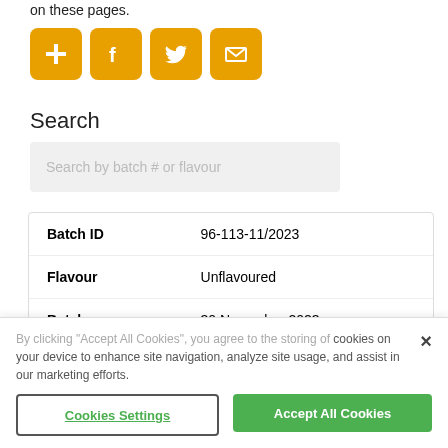on these pages.
[Figure (infographic): Four orange rounded-square social share buttons: plus/add, Facebook, Twitter, email]
Search
Search by batch # or flavour
| Field | Value |
| --- | --- |
| Batch ID | 96-113-11/2023 |
| Flavour | Unflavoured |
| Batch Expiration | 30 November 2023 |
By clicking "Accept All Cookies", you agree to the storing of cookies on your device to enhance site navigation, analyze site usage, and assist in our marketing efforts.
Cookies Settings
Accept All Cookies